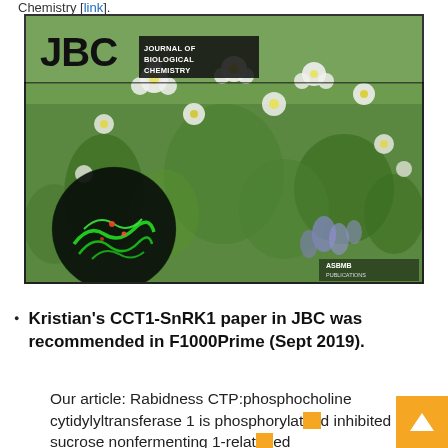Chemistry [link].
[Figure (photo): Journal of Biological Chemistry (JBC) magazine cover showing white flowers in a field with a circular fluorescence microscopy inset image in the lower left, and the ASBMB Publications logo in the lower right.]
Kristian's CCT1-SnRK1 paper in JBC was recommended in F1000Prime (Sept 2019).
Our article: Rabidness CTP:phosphocholine cytidylyltransferase 1 is phosphorylated and inhibited by sucrose nonfermenting 1-related